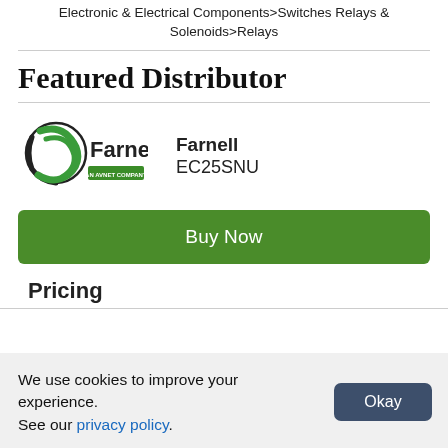Electronic & Electrical Components>Switches Relays & Solenoids>Relays
Featured Distributor
[Figure (logo): Farnell An Avnet Company logo]
Farnell EC25SNU
Buy Now
Pricing
We use cookies to improve your experience. See our privacy policy.